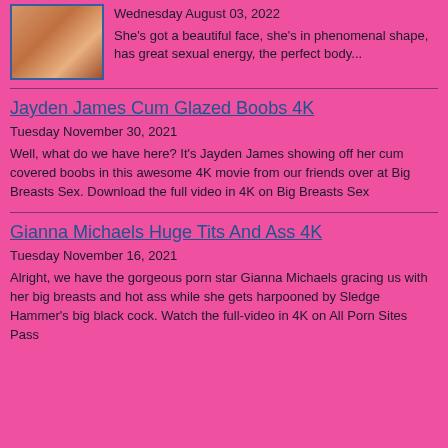[Figure (photo): Small thumbnail photo of a person in a pink/orange outfit]
Wednesday August 03, 2022
She's got a beautiful face, she's in phenomenal shape, has great sexual energy, the perfect body...
Jayden James Cum Glazed Boobs 4K
Tuesday November 30, 2021
Well, what do we have here? It's Jayden James showing off her cum covered boobs in this awesome 4K movie from our friends over at Big Breasts Sex. Download the full video in 4K on Big Breasts Sex
Gianna Michaels Huge Tits And Ass 4K
Tuesday November 16, 2021
Alright, we have the gorgeous porn star Gianna Michaels gracing us with her big breasts and hot ass while she gets harpooned by Sledge Hammer's big black cock. Watch the full-video in 4K on All Porn Sites Pass